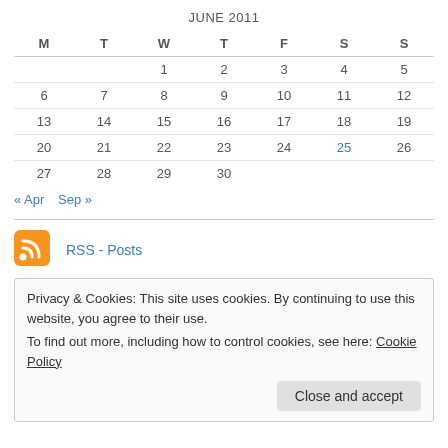JUNE 2011
| M | T | W | T | F | S | S |
| --- | --- | --- | --- | --- | --- | --- |
|  |  | 1 | 2 | 3 | 4 | 5 |
| 6 | 7 | 8 | 9 | 10 | 11 | 12 |
| 13 | 14 | 15 | 16 | 17 | 18 | 19 |
| 20 | 21 | 22 | 23 | 24 | 25 | 26 |
| 27 | 28 | 29 | 30 |  |  |  |
« Apr   Sep »
[Figure (logo): RSS feed orange icon]
RSS - Posts
Privacy & Cookies: This site uses cookies. By continuing to use this website, you agree to their use. To find out more, including how to control cookies, see here: Cookie Policy
Close and accept